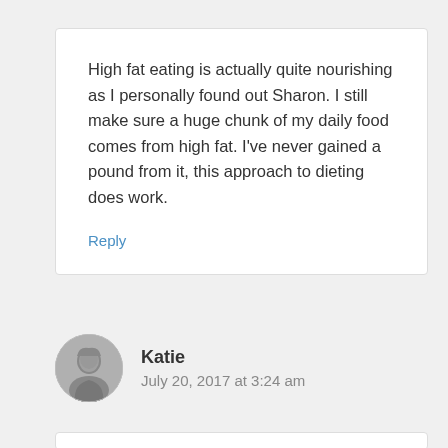High fat eating is actually quite nourishing as I personally found out Sharon. I still make sure a huge chunk of my daily food comes from high fat. I've never gained a pound from it, this approach to dieting does work.
Reply
[Figure (photo): Circular avatar photo of a woman named Katie, black and white.]
Katie
July 20, 2017 at 3:24 am